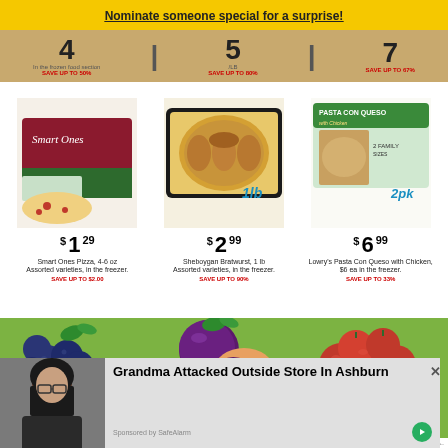Nominate someone special for a surprise!
[Figure (infographic): Partial grocery weekly ad strip showing prices $4, $5/lb, $7 with savings percentages 50%, 80%, 67%]
[Figure (photo): Smart Ones frozen pizza boxes, two packages shown]
$1 29 Smart Ones Pizza, 4-6 oz Assorted varieties, in the freezer. SAVE UP TO $2.00
[Figure (photo): Sheboygan Bratwurst 1 lb package with 1lb badge]
$2 99 Sheboygan Bratwurst, 1 lb Assorted varieties, in the freezer. SAVE UP TO 90%
[Figure (photo): Lowry's Pasta Con Queso with Chicken box, 2pk badge]
$6 99 Lowry's Pasta Con Queso with Chicken, $6 ea in the freezer. SAVE UP TO 33%
[Figure (photo): Green background produce section showing blueberries (1pt $1.99 SAVE UP TO 60%), black plums ($1.99/lb SAVE UP TO 43%), and roma tomatoes (99¢/lb SAVE UP TO 69%)]
Prices valid in store only. Items may vary by store. While supplies last.
[Figure (photo): Advertisement: Woman with dark hair and glasses photo next to headline 'Grandma Attacked Outside Store In Ashburn' with green play button. Sponsored by SafeAlarm.]
Grandma Attacked Outside Store In Ashburn
Sponsored by SafeAlarm